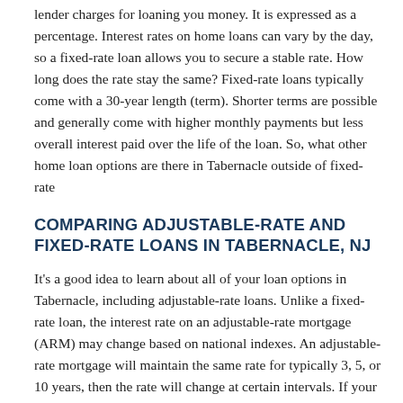lender charges for loaning you money. It is expressed as a percentage. Interest rates on home loans can vary by the day, so a fixed-rate loan allows you to secure a stable rate. How long does the rate stay the same? Fixed-rate loans typically come with a 30-year length (term). Shorter terms are possible and generally come with higher monthly payments but less overall interest paid over the life of the loan. So, what other home loan options are there in Tabernacle outside of fixed-rate
COMPARING ADJUSTABLE-RATE AND FIXED-RATE LOANS IN TABERNACLE, NJ
It's a good idea to learn about all of your loan options in Tabernacle, including adjustable-rate loans. Unlike a fixed-rate loan, the interest rate on an adjustable-rate mortgage (ARM) may change based on national indexes. An adjustable-rate mortgage will maintain the same rate for typically 3, 5, or 10 years, then the rate will change at certain intervals. If your interest rate increases after the fixed-rate timeframe has ended, your monthly payments might increase too. Talk to a Mr. Cooper mortgage professional about the protections a fixed-rate loan can offer. We'll help you